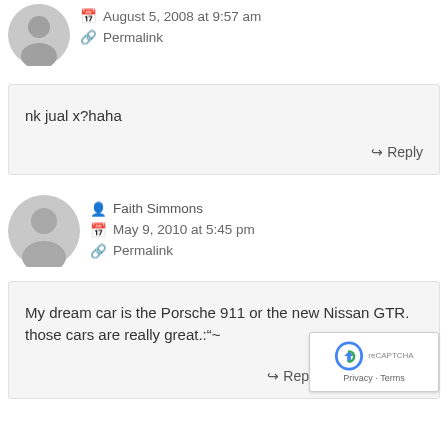August 5, 2008 at 9:57 am
Permalink
nk jual x?haha
Faith Simmons
May 9, 2010 at 5:45 pm
Permalink
My dream car is the Porsche 911 or the new Nissan GTR. those cars are really great.:“~